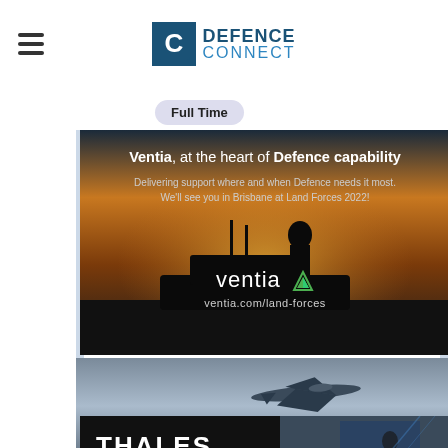[Figure (logo): Defence Connect logo with hamburger menu icon on left and stylized C with 'DEFENCE CONNECT' text in navy/blue]
Full Time
[Figure (advertisement): Ventia advertisement: 'Ventia, at the heart of Defence capability. Delivering support where and when Defence needs it most. We'll see you in Brisbane at Land Forces 2022!' with Ventia logo and ventia.com/land-forces URL, showing silhouetted military vehicle at sunset]
[Figure (photo): F-35 Joint Strike Fighter aircraft image with text overlay 'F-35 Joint Strike Fighter']
[Figure (advertisement): Thales advertisement: THALES logo with tagline 'Building a future we can all trust' showing soldier with Australian flag background]